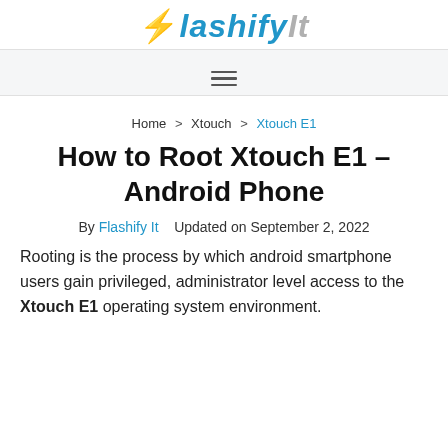FlashifyIt
Home > Xtouch > Xtouch E1
How to Root Xtouch E1 – Android Phone
By Flashify It   Updated on September 2, 2022
Rooting is the process by which android smartphone users gain privileged, administrator level access to the Xtouch E1 operating system environment.